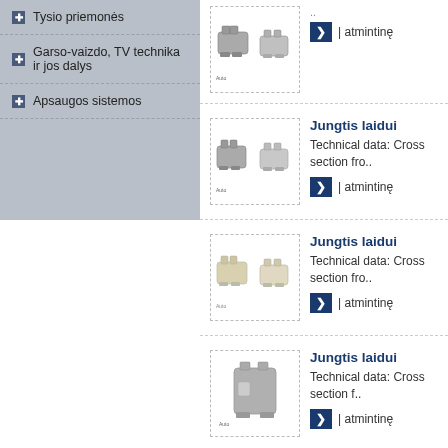Tysio priemonės
Garso-vaizdo, TV technika ir jos dalys
Apsaugos sistemos
[Figure (photo): Two grey electrical wire connectors]
..
| atmintinę
Jungtis laidui
Technical data:  Cross section fro..
| atmintinę
[Figure (photo): Two light grey electrical wire connectors]
Jungtis laidui
Technical data:  Cross section fro..
| atmintinę
[Figure (photo): Beige/cream electrical wire connector]
Jungtis laidui
Technical data:  Cross section fro..
| atmintinę
[Figure (photo): Single grey electrical wire connector]
Jungtis laidui
Technical data:  Cross section f..
| atmintinę